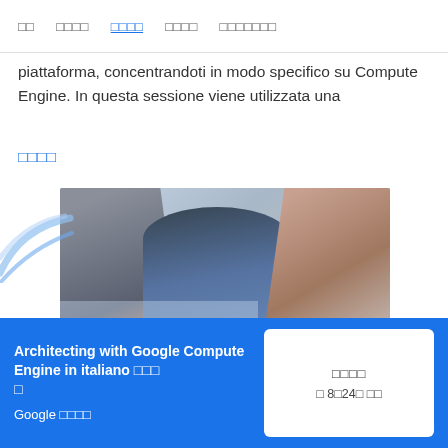☐☐  ☐☐☐☐  ☐☐☐☐  ☐☐☐☐  ☐☐☐☐☐☐☐
piattaforma, concentrandoti in modo specifico su Compute Engine. In questa sessione viene utilizzata una
☐☐☐☐
[Figure (photo): Three people looking at a laptop together in an office setting, smiling and collaborating.]
Architecting with Google Compute Engine in italiano ☐☐☐☐
Google ☐☐☐☐
☐☐☐☐
☐ 8☐24☐ ☐☐